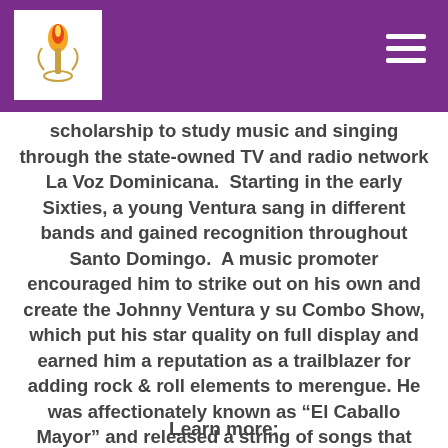[Logo] [Navigation menu icon]
scholarship to study music and singing through the state-owned TV and radio network La Voz Dominicana.  Starting in the early Sixties, a young Ventura sang in different bands and gained recognition throughout Santo Domingo.  A music promoter encouraged him to strike out on his own and create the Johnny Ventura y su Combo Show, which put his star quality on full display and earned him a reputation as a trailblazer for adding rock & roll elements to merengue. He was affectionately known as “El Caballo Mayor” and released a string of songs that became classics, such as “Patacon Pisao,” “Pitaste,” “El Elevador,” and “Merenguero Hasta la Tambora.” From 1998 to 2002, he served as mayor of Santo Domingo.
Learn more: